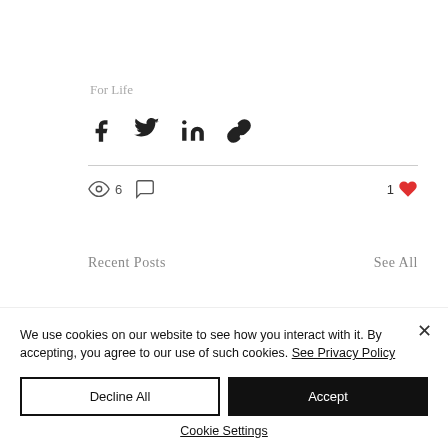For Life
[Figure (infographic): Social share icons: Facebook, Twitter, LinkedIn, link/chain icon]
6 views, 0 comments, 1 like
Recent Posts
See All
We use cookies on our website to see how you interact with it. By accepting, you agree to our use of such cookies. See Privacy Policy
Decline All
Accept
Cookie Settings